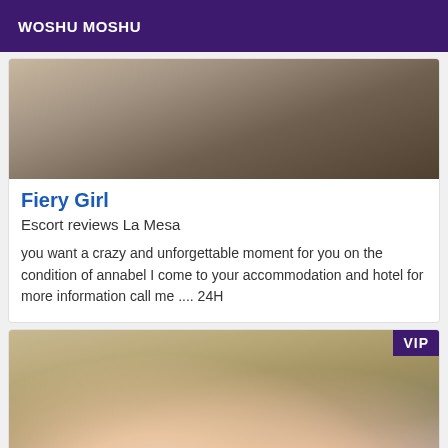WOSHU MOSHU
[Figure (photo): Close-up photo used as card header image]
Fiery Girl
Escort reviews La Mesa
you want a crazy and unforgettable moment for you on the condition of annabel I come to your accommodation and hotel for more information call me .... 24H
[Figure (photo): Photo with VIP badge in top right corner]